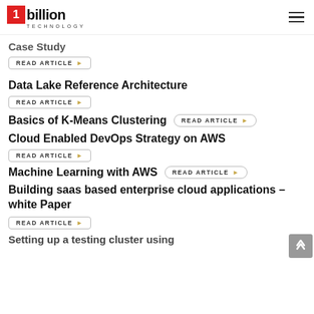1billion TECHNOLOGY
Case Study
READ ARTICLE
Data Lake Reference Architecture
READ ARTICLE
Basics of K-Means Clustering
READ ARTICLE
Cloud Enabled DevOps Strategy on AWS
READ ARTICLE
Machine Learning with AWS
READ ARTICLE
Building saas based enterprise cloud applications – white Paper
READ ARTICLE
Setting up a testing cluster using